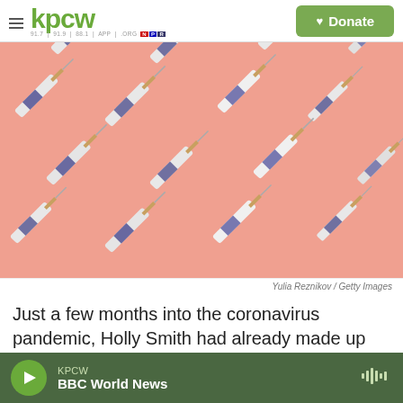KPCW — 91.7 | 91.9 | 88.1 | APP | .ORG — NPD — Donate
[Figure (photo): Overhead flat-lay photo of multiple syringes (vaccines) arranged diagonally on a salmon/pink background, pattern repeated across the image.]
Yulia Reznikov / Getty Images
Just a few months into the coronavirus pandemic, Holly Smith had already made up her mind. She
KPCW — BBC World News